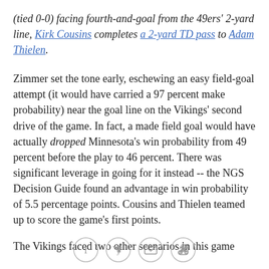(tied 0-0) facing fourth-and-goal from the 49ers' 2-yard line, Kirk Cousins completes a 2-yard TD pass to Adam Thielen.
Zimmer set the tone early, eschewing an easy field-goal attempt (it would have carried a 97 percent make probability) near the goal line on the Vikings' second drive of the game. In fact, a made field goal would have actually dropped Minnesota's win probability from 49 percent before the play to 46 percent. There was significant leverage in going for it instead -- the NGS Decision Guide found an advantage in win probability of 5.5 percentage points. Cousins and Thielen teamed up to score the game's first points.
The Vikings faced two other scenarios in this game
[Figure (other): Social sharing icons: Facebook, Twitter, Email, Link]